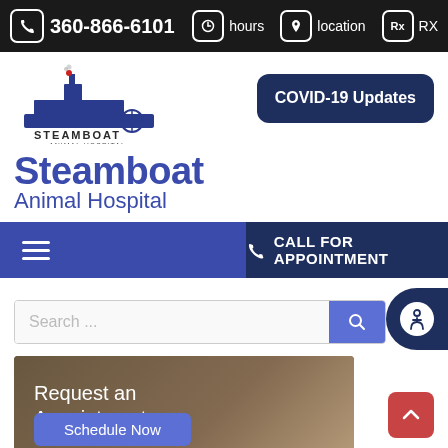360-866-6101 | hours | location | RX
[Figure (logo): Steamboat Animal Hospital logo with steamboat illustration]
Steamboat Animal Hospital
[Figure (other): COVID-19 Updates button]
[Figure (other): Navigation bar with hamburger menu and CALL FOR APPOINTMENT button]
[Figure (other): Search bar with search button and accessibility button]
[Figure (photo): Request an Appointment section with Schedule Now button over a photo of a dog]